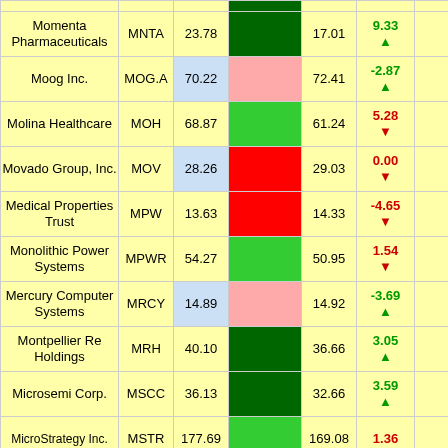| Company | Ticker | Price | Bar | 52W | Chg |  |
| --- | --- | --- | --- | --- | --- | --- |
| Momenta Pharmaceuticals | MNTA | 23.78 |  | 17.01 | 9.33 ▲ |  |
| Moog Inc. | MOG.A | 70.22 |  | 72.41 | -2.87 ▲ |  |
| Molina Healthcare | MOH | 68.87 |  | 61.24 | 5.28 ▼ |  |
| Movado Group, Inc. | MOV | 28.26 |  | 29.03 | 0.00 ▼ |  |
| Medical Properties Trust | MPW | 13.63 |  | 14.33 | -4.65 ▼ |  |
| Monolithic Power Systems | MPWR | 54.27 |  | 50.95 | 1.54 ▼ |  |
| Mercury Computer Systems | MRCY | 14.89 |  | 14.92 | -3.69 ▲ |  |
| Montpellier Re Holdings | MRH | 40.10 |  | 36.66 | 3.05 ▲ |  |
| Microsemi Corp. | MSCC | 36.13 |  | 32.66 | 3.59 ▲ |  |
| MicroStrategy Inc. | MSTR | 177.69 |  | 169.08 | 1.36 |  |